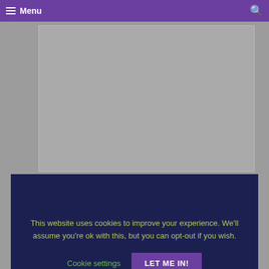Menu
[Figure (screenshot): Gray content area placeholder]
This website uses cookies to improve your experience. We'll assume you're ok with this, but you can opt-out if you wish.
Cookie settings
LET ME IN!
Name *
Email *
Website